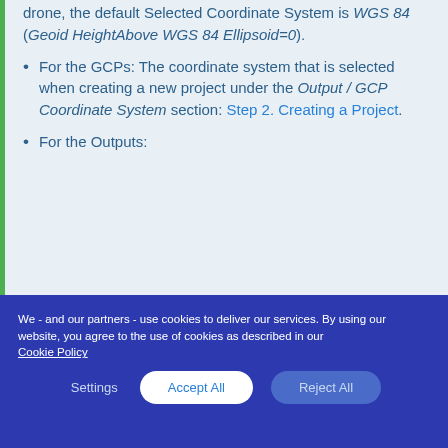drone, the default Selected Coordinate System is WGS 84 (Geoid HeightAbove WGS 84 Ellipsoid=0).
For the GCPs: The coordinate system that is selected when creating a new project under the Output / GCP Coordinate System section: Step 2. Creating a Project.
For the Outputs:
We - and our partners - use cookies to deliver our services. By using our website, you agree to the use of cookies as described in our Cookie Policy
Settings   Accept All   Reject All